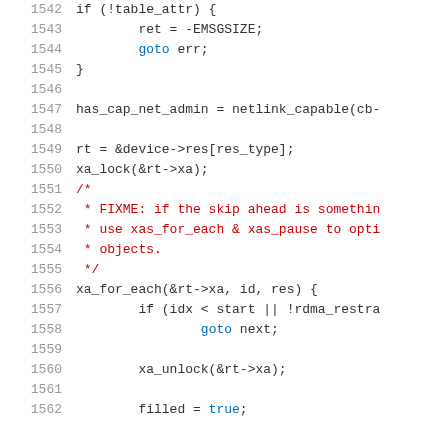Source code listing, lines 1542-1562, showing C kernel code with syntax highlighting
1542    if (!table_attr) {
1543            ret = -EMSGSIZE;
1544            goto err;
1545    }
1546
1547    has_cap_net_admin = netlink_capable(cb-
1548
1549    rt = &device->res[res_type];
1550    xa_lock(&rt->xa);
1551    /*
1552     * FIXME: if the skip ahead is somethin
1553     * use xas_for_each & xas_pause to opti
1554     * objects.
1555     */
1556    xa_for_each(&rt->xa, id, res) {
1557            if (idx < start || !rdma_restra
1558                    goto next;
1559
1560            xa_unlock(&rt->xa);
1561
1562            filled = true;